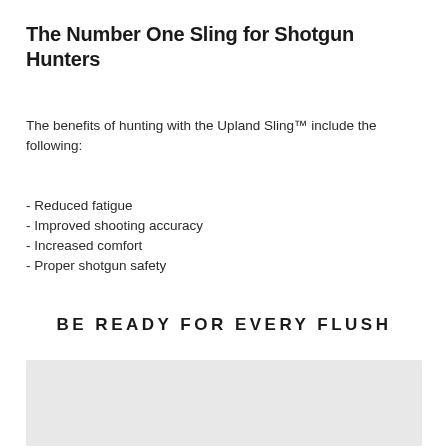The Number One Sling for Shotgun Hunters
The benefits of hunting with the Upland Sling™ include the following:
- Reduced fatigue
- Improved shooting accuracy
- Increased comfort
- Proper shotgun safety
BE READY FOR EVERY FLUSH
[Figure (photo): A light gray rectangular placeholder image at the bottom of the page.]